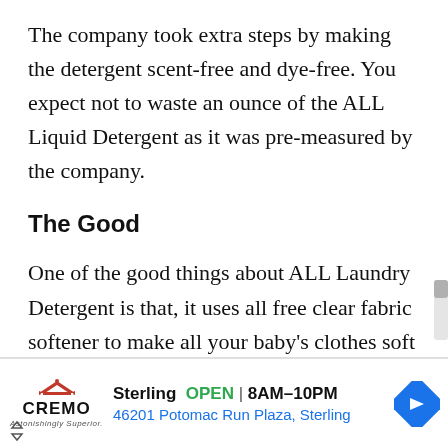The company took extra steps by making the detergent scent-free and dye-free. You expect not to waste an ounce of the ALL Liquid Detergent as it was pre-measured by the company.
The Good
One of the good things about ALL Laundry Detergent is that, it uses all free clear fabric softener to make all your baby's clothes soft and clean. It cleans clothes
[Figure (other): Advertisement banner for Cremo brand showing Sterling store location: OPEN 8AM–10PM, 46201 Potomac Run Plaza, Sterling, with a navigation arrow icon.]